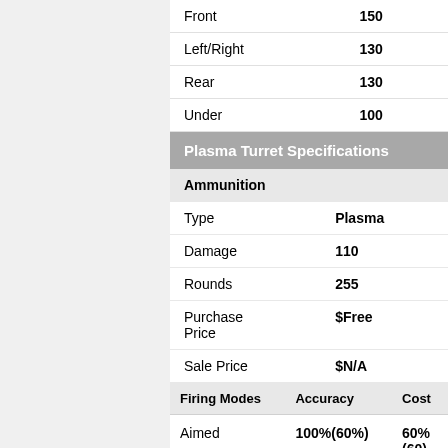|  |  |
| --- | --- |
| Front | 150 |
| Left/Right | 130 |
| Rear | 130 |
| Under | 100 |
Plasma Turret Specifications
| Ammunition |  |
| --- | --- |
| Type | Plasma |
| Damage | 110 |
| Rounds | 255 |
| Purchase Price | $Free |
| Sale Price | $N/A |
| Firing Modes | Accuracy | Cost |
| --- | --- | --- |
| Aimed | 100%(60%) | 60% (60) |
|  | ??%(???) | 30% |